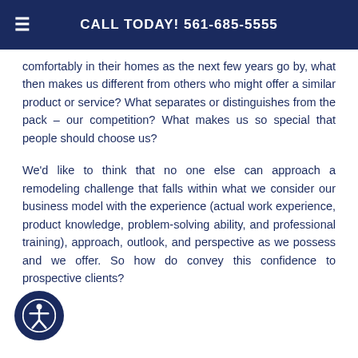CALL TODAY! 561-685-5555
comfortably in their homes as the next few years go by, what then makes us different from others who might offer a similar product or service? What separates or distinguishes from the pack – our competition? What makes us so special that people should choose us?
We'd like to think that no one else can approach a remodeling challenge that falls within what we consider our business model with the experience (actual work experience, product knowledge, problem-solving ability, and professional training), approach, outlook, and perspective as we possess and we offer. So how do convey this confidence to prospective clients?